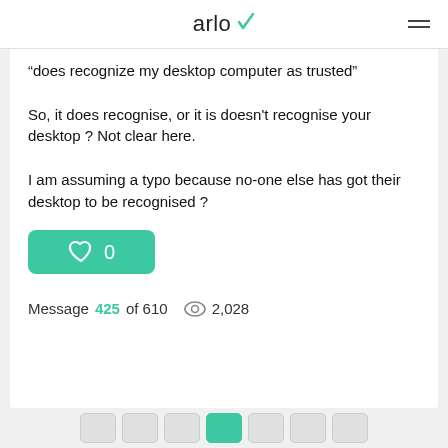arlo
does recognize my desktop computer as trusted"

So, it does recognise, or it is doesn't recognise your desktop ? Not clear here.

I am assuming a typo because no-one else has got their desktop to be recognised ?
Message 425 of 610  2,028